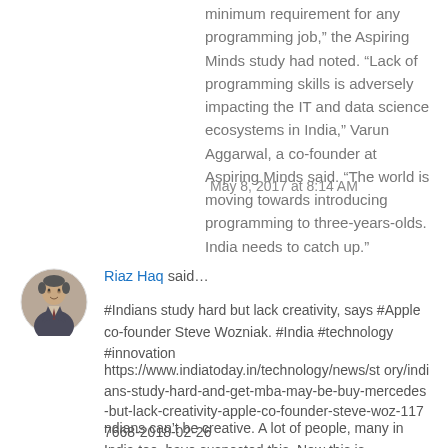minimum requirement for any programming job,” the Aspiring Minds study had noted. “Lack of programming skills is adversely impacting the IT and data science ecosystems in India,” Varun Aggarwal, a co-founder at Aspiring Minds said. “The world is moving towards introducing programming to three-years-olds. India needs to catch up.”
May 8, 2017 at 8:14 AM
[Figure (photo): Circular avatar photo of Riaz Haq, a man in a suit]
Riaz Haq said…
#Indians study hard but lack creativity, says #Apple co-founder Steve Wozniak. #India #technology #innovation
https://www.indiatoday.in/technology/news/story/indians-study-hard-and-get-mba-may-be-buy-mercedes-but-lack-creativity-apple-co-founder-steve-woz-1177668-2018-02-26
ndians can’t be creative. A lot of people, many in India too, have suspected this. Now this is